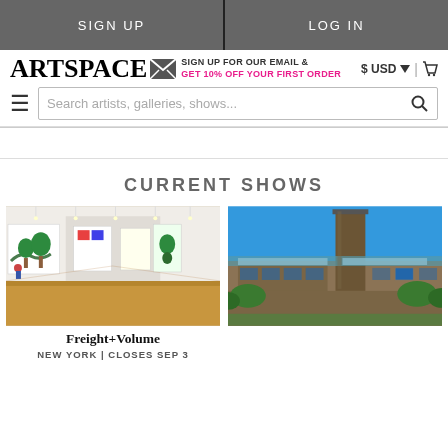SIGN UP | LOG IN
[Figure (screenshot): Artspace website header with logo, email signup promo, USD selector, search bar, and hamburger menu]
CURRENT SHOWS
[Figure (photo): Gallery interior with colorful artworks on white walls and wooden floor — Freight+Volume]
Freight+Volume
NEW YORK | CLOSES SEP 3
[Figure (photo): Exterior photo of large brick building with tall chimney against blue sky (Tate Modern style)]